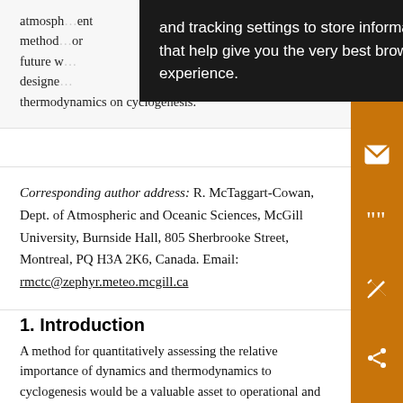atmosphere … ment methods … or future w… designed … thermodynamics on cyclogenesis.
[Figure (screenshot): Tooltip/cookie consent overlay with text: 'and tracking settings to store information that help give you the very best browsing experience.']
Corresponding author address: R. McTaggart-Cowan, Dept. of Atmospheric and Oceanic Sciences, McGill University, Burnside Hall, 805 Sherbrooke Street, Montreal, PQ H3A 2K6, Canada. Email: rmctc@zephyr.meteo.mcgill.ca
1. Introduction
A method for quantitatively assessing the relative importance of dynamics and thermodynamics to cyclogenesis would be a valuable asset to operational and